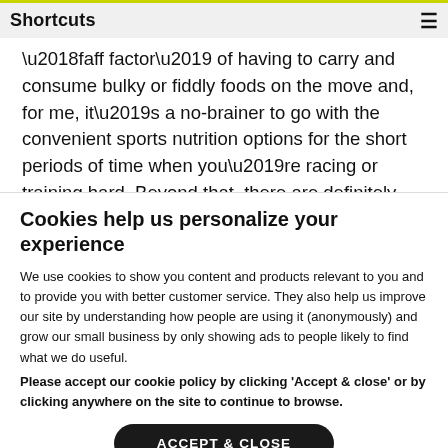Shortcuts
‘faff factor’ of having to carry and consume bulky or fiddly foods on the move and, for me, it’s a no-brainer to go with the convenient sports nutrition options for the short periods of time when you’re racing or training hard. Beyond that, there are definitely benefits to be had by
Cookies help us personalize your experience
We use cookies to show you content and products relevant to you and to provide you with better customer service. They also help us improve our site by understanding how people are using it (anonymously) and grow our small business by only showing ads to people likely to find what we do useful. Please accept our cookie policy by clicking ‘Accept & close’ or by clicking anywhere on the site to continue to browse.
ACCEPT & CLOSE
Manage cookies